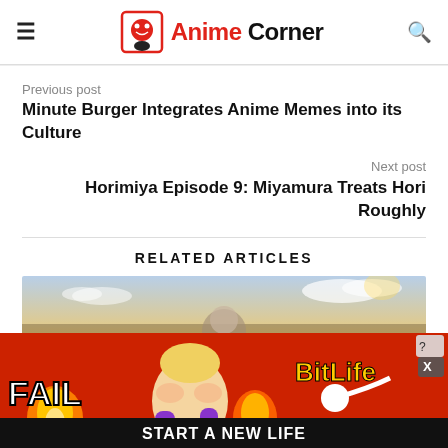Anime Corner
Previous post
Minute Burger Integrates Anime Memes into its Culture
Next post
Horimiya Episode 9: Miyamura Treats Hori Roughly
RELATED ARTICLES
[Figure (photo): Related article thumbnail showing an anime scene with sky background]
[Figure (photo): Advertisement banner for BitLife game - shows FAIL text, animated character, fire, and START A NEW LIFE text]